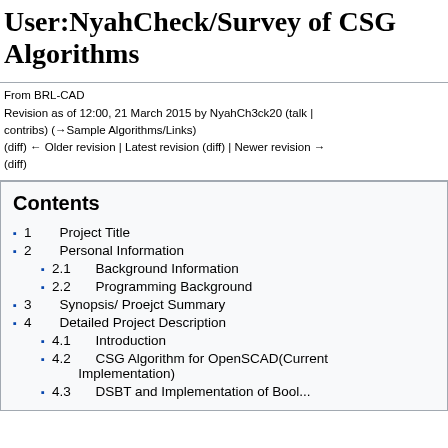User:NyahCheck/Survey of CSG Algorithms
From BRL-CAD
Revision as of 12:00, 21 March 2015 by NyahCh3ck20 (talk | contribs) (→Sample Algorithms/Links)
(diff) ← Older revision | Latest revision (diff) | Newer revision → (diff)
Contents
1  Project Title
2  Personal Information
2.1  Background Information
2.2  Programming Background
3  Synopsis/ Proejct Summary
4  Detailed Project Description
4.1  Introduction
4.2  CSG Algorithm for OpenSCAD(Current Implementation)
4.3  DSBT and Implementation of Bool...